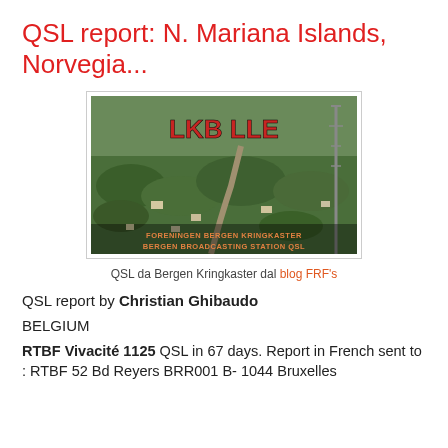QSL report: N. Mariana Islands, Norvegia...
[Figure (photo): Aerial photo of Bergen Kringkaster (Bergen Broadcasting Station) with text 'LKB LLE' and 'Foreningen Bergen Kringkaster Bergen Broadcasting Station QSL' overlaid in red/orange letters]
QSL da Bergen Kringkaster dal blog FRF's
QSL report by Christian Ghibaudo
BELGIUM
RTBF Vivacité 1125 QSL in 67 days. Report in French sent to : RTBF 52 Bd Reyers BRR001 B- 1044 Bruxelles